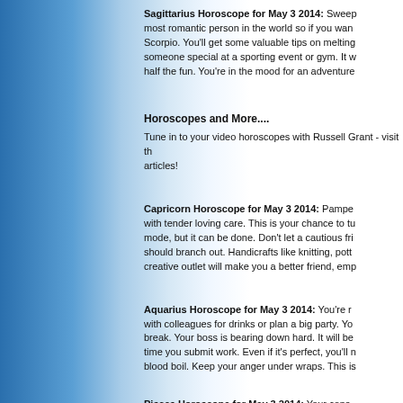Sagittarius Horoscope for May 3 2014: Sweep... most romantic person in the world so if you wan... Scorpio. You'll get some valuable tips on melting... someone special at a sporting event or gym. It w... half the fun. You're in the mood for an adventure...
Horoscopes and More....
Tune in to your video horoscopes with Russell Grant - visit th... articles!
Capricorn Horoscope for May 3 2014: Pampe... with tender loving care. This is your chance to tu... mode, but it can be done. Don't let a cautious fri... should branch out. Handicrafts like knitting, pott... creative outlet will make you a better friend, emp...
Aquarius Horoscope for May 3 2014: You're r... with colleagues for drinks or plan a big party. Yo... break. Your boss is bearing down hard. It will be... time you submit work. Even if it's perfect, you'll n... blood boil. Keep your anger under wraps. This is...
Pisces Horoscope for May 3 2014: Your cons...